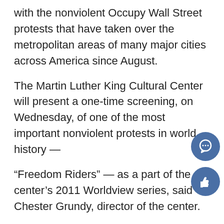with the nonviolent Occupy Wall Street protests that have taken over the metropolitan areas of many major cities across America since August.
The Martin Luther King Cultural Center will present a one-time screening, on Wednesday, of one of the most important nonviolent protests in world history —
“Freedom Riders” — as a part of the center’s 2011 Worldview series, said Chester Grundy, director of the center.
Grundy said the purpose of the Worldview series is to present “thoughtful, high-quality films, which provide critical thought and dialogue,” and that documentary perfectly captures that.
“It is a powerful, inspirational story of a group o